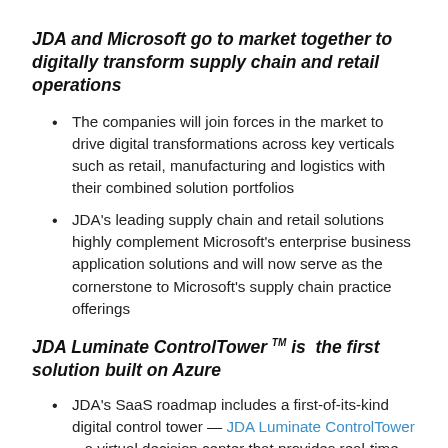JDA and Microsoft go to market together to digitally transform supply chain and retail operations
The companies will join forces in the market to drive digital transformations across key verticals such as retail, manufacturing and logistics with their combined solution portfolios
JDA's leading supply chain and retail solutions highly complement Microsoft's enterprise business application solutions and will now serve as the cornerstone to Microsoft's supply chain practice offerings
JDA Luminate ControlTower TM is the first solution built on Azure
JDA's SaaS roadmap includes a first-of-its-kind digital control tower — JDA Luminate ControlTower – a virtual decision center that provides real-time, 24/7 end-to-end visibility into global supply chains that will serve as the nerve